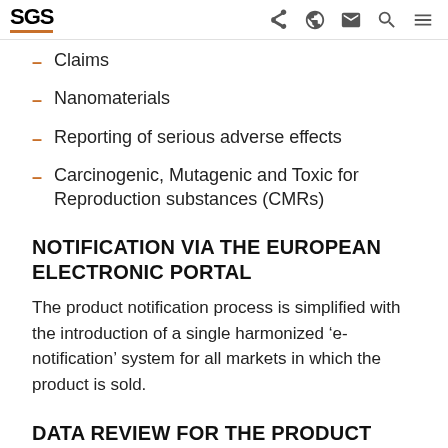SGS
Claims
Nanomaterials
Reporting of serious adverse effects
Carcinogenic, Mutagenic and Toxic for Reproduction substances (CMRs)
NOTIFICATION VIA THE EUROPEAN ELECTRONIC PORTAL
The product notification process is simplified with the introduction of a single harmonized ‘e-notification’ system for all markets in which the product is sold.
DATA REVIEW FOR THE PRODUCT